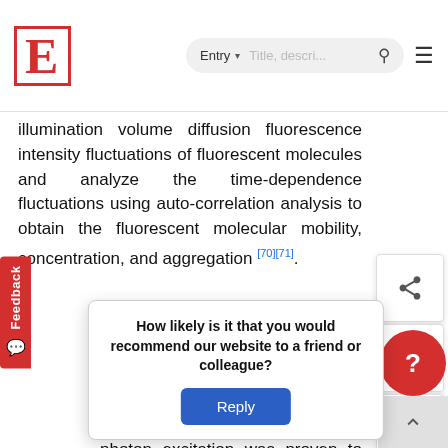E [logo] | Entry ▾ | Title, descr... [search] [menu]
illumination volume diffusion fluorescence intensity fluctuations of fluorescent molecules and analyze the time-dependence fluctuations using auto-correlation analysis to obtain the fluorescent molecular mobility, concentration, and aggregation [70][71].
The first literature on the use of FCS in plants was published in 1999, when the diffusion of a cytosolic GFP mutant S65T was investigated in tobacco, and two-photon excitation was proven to be a better choice to improve signal quality for plant cells [72]. Using FCS/FCCS, the endocytic pathways of RbohD under salt stress were studied and ROS accumulation under the pathogen gradually resulted in single-molecule molecule
How likely is it that you would recommend our website to a friend or colleague?
Reply